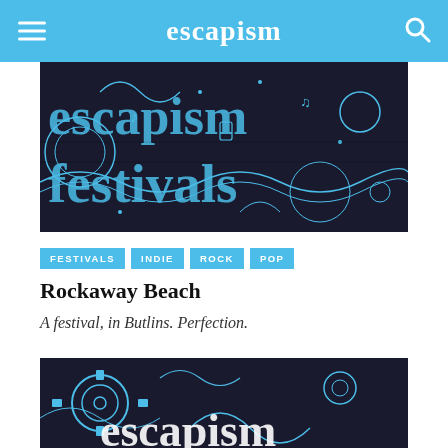escapism
[Figure (illustration): Black and blue illustrated festival artwork with large text reading 'escapism festivals' over dense doodle-style artwork]
FESTIVALS
INDIE
ROCK
POP
Rockaway Beach
A festival, in Butlins. Perfection.
[Figure (illustration): Black and blue illustrated artwork with large text reading 'escapism' over dense doodle-style artwork with gears and floral motifs]